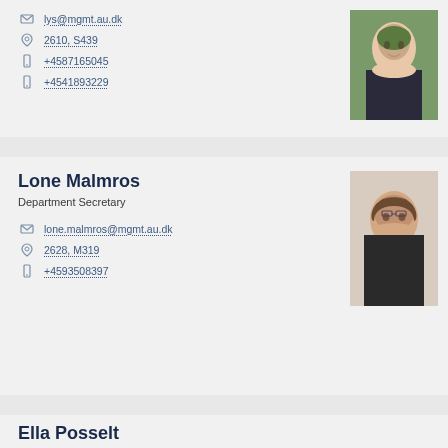lys@mgmt.au.dk
2610, S439
+4587165045
+4541893229
[Figure (photo): Portrait photo of a young woman with hair up, smiling, outdoors with green background]
Lone Malmros
Department Secretary
lone.malmros@mgmt.au.dk
2628, M319
+4593508397
[Figure (photo): Portrait photo of a middle-aged woman with short wavy hair and glasses, wearing a patterned top]
Ella Posselt
Member of Administrative Staff